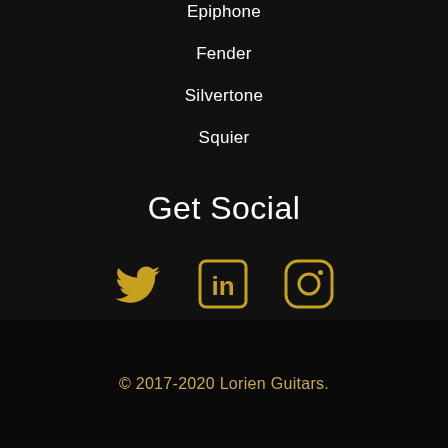Epiphone
Fender
Silvertone
Squier
Get Social
[Figure (illustration): Three social media icons in golden/amber color: Twitter bird icon, LinkedIn 'in' icon, and Instagram camera icon]
© 2017-2020 Lorien Guitars.